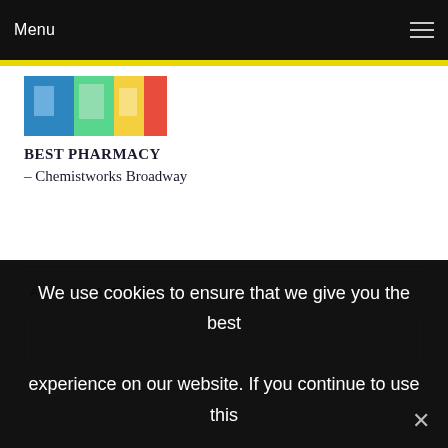Menu
[Figure (photo): Pharmacy store photo showing colorful products]
BEST PHARMACY – Chemistworks Broadway
ALSO ON ALTMEDIA
We use cookies to ensure that we give you the best experience on our website. If you continue to use this